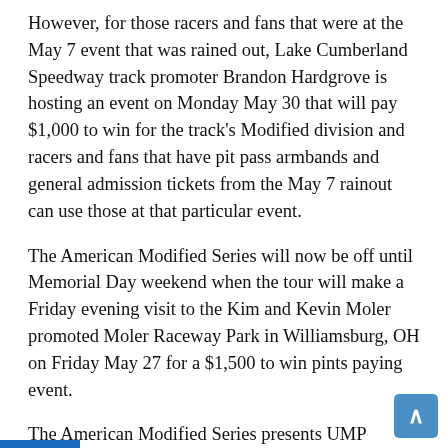However, for those racers and fans that were at the May 7 event that was rained out, Lake Cumberland Speedway track promoter Brandon Hardgrove is hosting an event on Monday May 30 that will pay $1,000 to win for the track's Modified division and racers and fans that have pit pass armbands and general admission tickets from the May 7 rainout can use those at that particular event.
The American Modified Series will now be off until Memorial Day weekend when the tour will make a Friday evening visit to the Kim and Kevin Moler promoted Moler Raceway Park in Williamsburg, OH on Friday May 27 for a $1,500 to win pints paying event.
The American Modified Series presents UMP Modified sanctioned dirt track sports entertainment at racing venues throughout Kentucky, Indiana, Ohio, and Tennessee.  For more information concerning the American Modified Series, call series race director Chad Yantz at (606) 510-4836 or via the internet by visiting the series website at www.americanmodifiedseries.com.